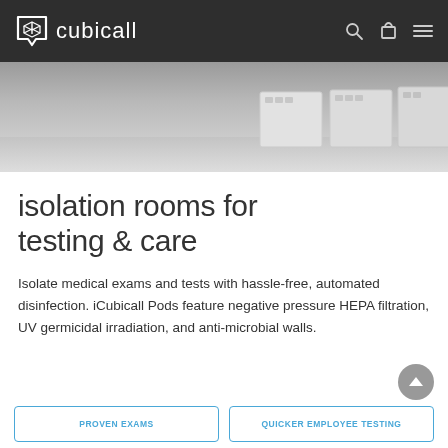[Figure (logo): Cubicall logo — white cube icon and white lowercase wordmark 'cubicall' on dark grey navigation bar with search, cart, and hamburger menu icons]
[Figure (photo): Black and white/greyscale photo showing modular pod units (isolation booths) on a polished floor, cropped at the top of the page]
isolation rooms for testing & care
Isolate medical exams and tests with hassle-free, automated disinfection. iCubicall Pods feature negative pressure HEPA filtration, UV germicidal irradiation, and anti-microbial walls.
[Figure (illustration): Grey circular scroll-to-top button with upward chevron arrow]
PROVEN EXAMS
QUICKER EMPLOYEE TESTING